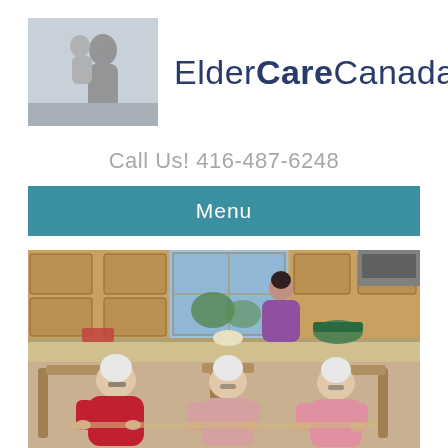[Figure (logo): ElderCare Canada logo with black-and-white photo of adult holding a child, next to brand name 'ElderCareCanada']
Call Us! 416-487-6248
Menu
[Figure (photo): Photo of three elderly women seated at a kitchen counter/table, with a younger woman standing in the background near a kitchen with wooden cabinets and a window.]